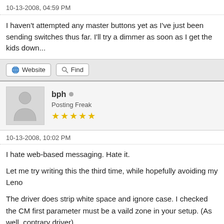10-13-2008, 04:59 PM
I haven't attempted any master buttons yet as I've just been sending switches thus far. I'll try a dimmer as soon as I get the kids down...
bph
Posting Freak
10-13-2008, 10:02 PM
I hate web-based messaging. Hate it.
Let me try writing this the third time, while hopefully avoiding my Leno
The driver does strip white space and ignore case. I checked the CM first parameter must be a vaild zone in your setup. (As well, contrary driver).
This works fine for me: